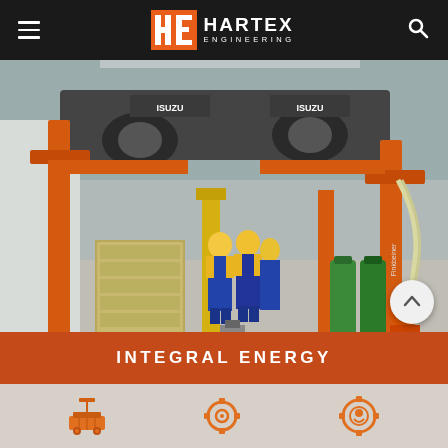HE HARTEX ENGINEERING
[Figure (photo): Workshop/garage scene showing orange vehicle lift/hoist system with two workers in high-visibility clothing working underneath a raised vehicle (truck/Isuzu). Orange Finkbeiner column lifts visible on both sides. Green gas cylinders and tool cabinets in background. Industrial workshop floor.]
INTEGRAL ENERGY